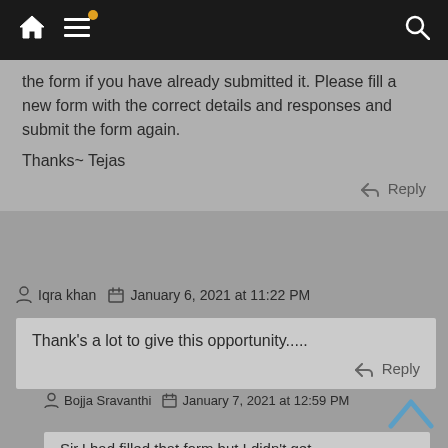[Navigation bar with home, menu, and search icons]
the form if you have already submitted it. Please fill a new form with the correct details and responses and submit the form again.

Thanks~ Tejas
Reply
Iqra khan  January 6, 2021 at 11:22 PM
Thank's a lot to give this opportunity.....
Reply
Bojja Sravanthi  January 7, 2021 at 12:59 PM
Sir,I had filled that form but I didn't get